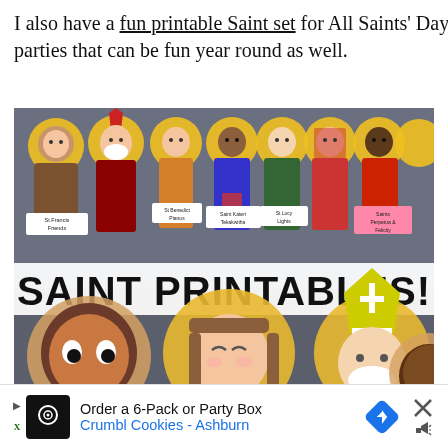I also have a fun printable Saint set for All Saints' Day parties that can be fun year round as well.
[Figure (illustration): Colorful cartoon illustration of various Catholic saints as paper doll-style figures with golden halos, holding name signs. The bottom half shows close-up saint figures. Large bold text reads 'SAINT PRINTABLES!' in the middle.]
Order a 6-Pack or Party Box Crumbl Cookies - Ashburn